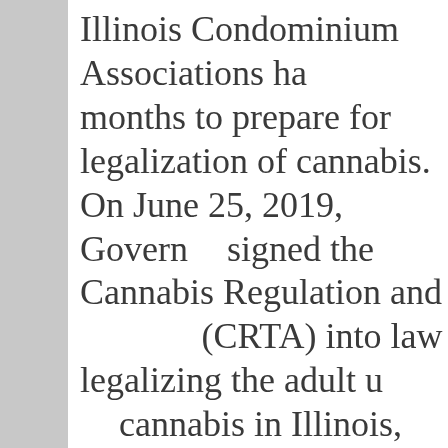Illinois Condominium Associations have months to prepare for legalization of cannabis. On June 25, 2019, Governor signed the Cannabis Regulation and Tax Act (CRTA) into law legalizing the adult use of cannabis in Illinois, starting Jan. 1, 2020. CRTA includes a provision of special interest to Condominium Associations, creating a new section of the Condominium Property Act to specifically authorize Condominium Associations to ban smoking of cannabis products on Association grounds – including within a Unit Owner's Unit. This section of the CRTA was effective June 25, 2019.